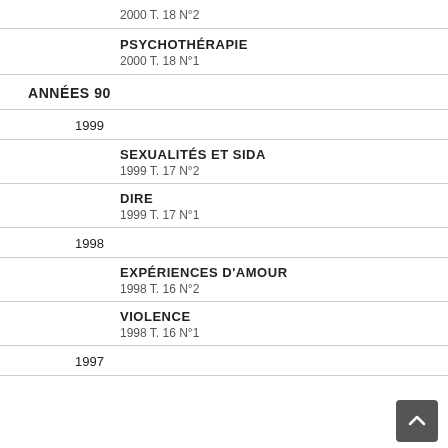2000 T. 18 N°2
PSYCHOTHÉRAPIE
2000 T. 18 N°1
ANNÉES 90
1999
SEXUALITÉS ET SIDA
1999 T. 17 N°2
DIRE
1999 T. 17 N°1
1998
EXPÉRIENCES D'AMOUR
1998 T. 16 N°2
VIOLENCE
1998 T. 16 N°1
1997